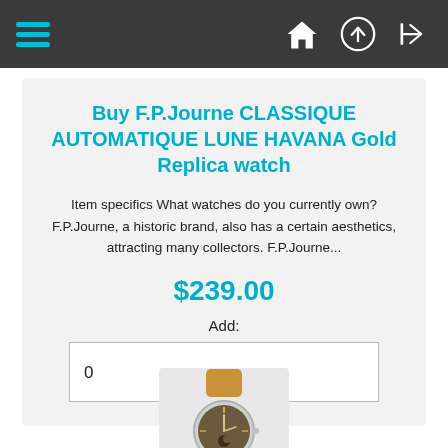Navigation bar with hamburger menu and icons
Buy F.P.Journe CLASSIQUE AUTOMATIQUE LUNE HAVANA Gold Replica watch
Item specifics What watches do you currently own? F.P.Journe, a historic brand, also has a certain aesthetics, attracting many collectors. F.P.Journe...
$239.00
Add:
0
[Figure (photo): F.P.Journe Classique Automatique watch with brown/tan leather strap and dark dial]
Buy F.P.Journe CLASSIQUE AUTOMATIQUE